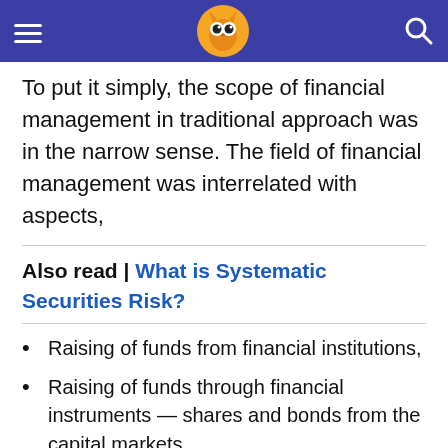[Owl logo header with hamburger menu and search icon]
To put it simply, the scope of financial management in traditional approach was in the narrow sense. The field of financial management was interrelated with aspects,
Also read | What is Systematic Securities Risk?
Raising of funds from financial institutions,
Raising of funds through financial instruments — shares and bonds from the capital markets.
The legal and accounting relationships between an enterprise and its sources of funds (creditors),